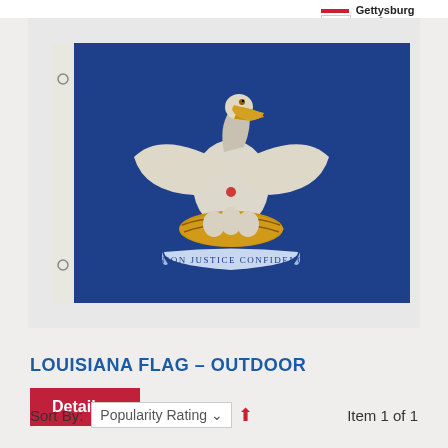[Figure (logo): Gettysburg Flag Works logo with red and white stripes and 'Made in The USA' badge]
[Figure (photo): Louisiana state flag - outdoor version. Blue background with pelican and nest emblem, banner reading UNION JUSTICE CONFIDENCE]
LOUISIANA FLAG – OUTDOOR
Details »
Sort By:  Popularity Rating ▼  ↑  Item 1 of 1